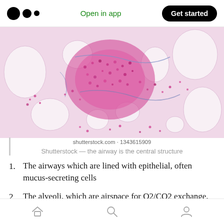Open in app  Get started
[Figure (photo): Histology microscopy image showing lung tissue with airway as central structure, stained with H&E showing pink/magenta cellular structures and white airspaces (alveoli). Shutterstock image 1343615909.]
shutterstock.com · 1343615909
Shutterstock — the airway is the central structure
The airways which are lined with epithelial, often mucus-secreting cells
The alveoli, which are airspace for O2/CO2 exchange. They are lined by very thin
Home  Search  Profile